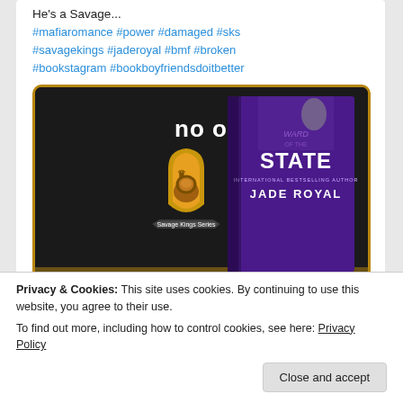He's a Savage...
#mafiaromance #power #damaged #sks #savagekings #jaderoyal #bmf #broken #bookstagram #bookboyfriendsdoitbetter
[Figure (photo): Book promotional image for 'Ward of the State' by Jade Royal (Savage Kings Series), showing book cover with dark background, gold shield logo with lion, and text 'no one.']
2 likes
Privacy & Cookies: This site uses cookies. By continuing to use this website, you agree to their use.
To find out more, including how to control cookies, see here: Privacy Policy
Close and accept